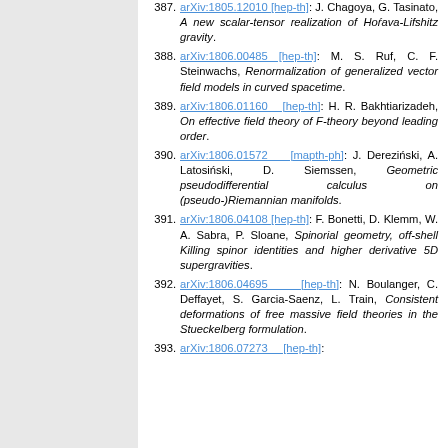387. arXiv:1805.12010 [hep-th]: J. Chagoya, G. Tasinato, A new scalar-tensor realization of Horava-Lifshitz gravity.
388. arXiv:1806.00485 [hep-th]: M. S. Ruf, C. F. Steinwachs, Renormalization of generalized vector field models in curved spacetime.
389. arXiv:1806.01160 [hep-th]: H. R. Bakhtiarizadeh, On effective field theory of F-theory beyond leading order.
390. arXiv:1806.01572 [mapth-ph]: J. Derezinski, A. Latosinski, D. Siemssen, Geometric pseudodifferential calculus on (pseudo-)Riemannian manifolds.
391. arXiv:1806.04108 [hep-th]: F. Bonetti, D. Klemm, W. A. Sabra, P. Sloane, Spinorial geometry, off-shell Killing spinor identities and higher derivative 5D supergravities.
392. arXiv:1806.04695 [hep-th]: N. Boulanger, C. Deffayet, S. Garcia-Saenz, L. Train, Consistent deformations of free massive field theories in the Stueckelberg formulation.
393. arXiv:1806.07273 [hep-th]: ...